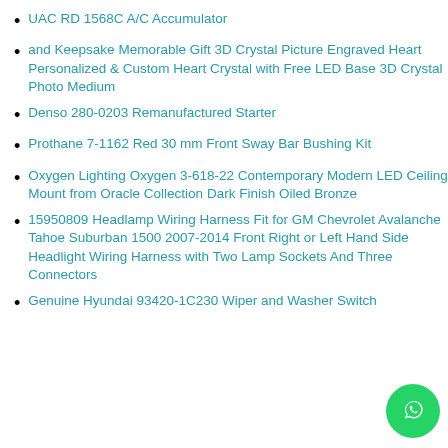UAC RD 1568C A/C Accumulator
and Keepsake Memorable Gift 3D Crystal Picture Engraved Heart Personalized & Custom Heart Crystal with Free LED Base 3D Crystal Photo Medium
Denso 280-0203 Remanufactured Starter
Prothane 7-1162 Red 30 mm Front Sway Bar Bushing Kit
Oxygen Lighting Oxygen 3-618-22 Contemporary Modern LED Ceiling Mount from Oracle Collection Dark Finish Oiled Bronze
15950809 Headlamp Wiring Harness Fit for GM Chevrolet Avalanche Tahoe Suburban 1500 2007-2014 Front Right or Left Hand Side Headlight Wiring Harness with Two Lamp Sockets And Three Connectors
Genuine Hyundai 93420-1C230 Wiper and Washer Switch Assembly